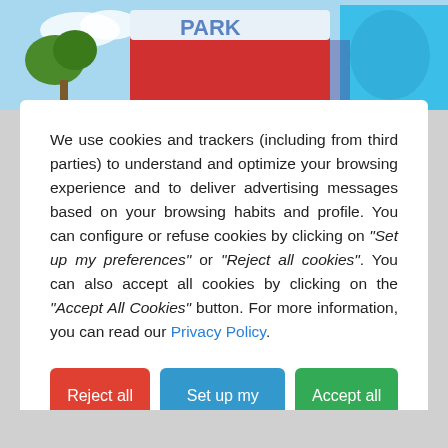[Figure (photo): Colorful amusement park or carnival scene visible at the top of the page, showing rides and blue sky.]
We use cookies and trackers (including from third parties) to understand and optimize your browsing experience and to deliver advertising messages based on your browsing habits and profile. You can configure or refuse cookies by clicking on "Set up my preferences" or "Reject all cookies". You can also accept all cookies by clicking on the "Accept All Cookies" button. For more information, you can read our Privacy Policy.
Reject all cookies
Set up my preferences
Accept all cookies